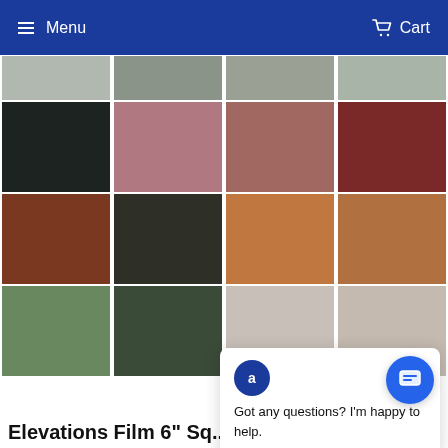Menu   Cart
[Figure (photo): Grid of color swatches in multiple rows: row 1 (partial, gray tones), row 2 (black, dusty pink, mauve/terracotta, dark red/burgundy), row 3 (dark brown/rust, charcoal black, orange-tan, tan/brown), row 4 (sage green, dark forest green, light beige/taupe, light beige/taupe)]
[Figure (screenshot): Chat popup overlay with logo and text: Got any questions? I'm happy to help.]
Elevations Film 6" Sq...